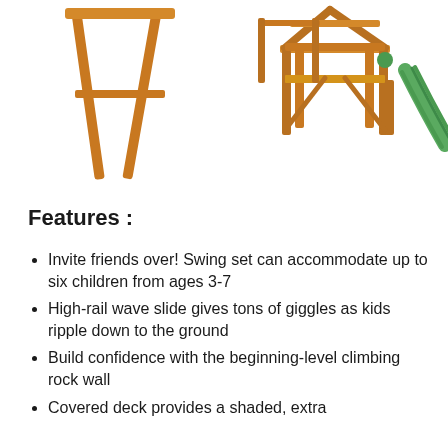[Figure (photo): Product images of a wooden swing set frame (left) and a wooden playground set with slide (center-right) on white background]
Features :
Invite friends over! Swing set can accommodate up to six children from ages 3-7
High-rail wave slide gives tons of giggles as kids ripple down to the ground
Build confidence with the beginning-level climbing rock wall
Covered deck provides a shaded, extra